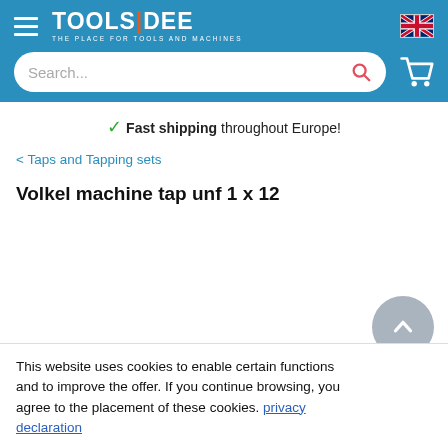[Figure (screenshot): Toolsidee website header with hamburger menu, logo, UK flag, search bar, and cart icon on a blue background]
✓ Fast shipping throughout Europe!
< Taps and Tapping sets
Volkel machine tap unf 1 x 12
This website uses cookies to enable certain functions and to improve the offer. If you continue browsing, you agree to the placement of these cookies. privacy declaration